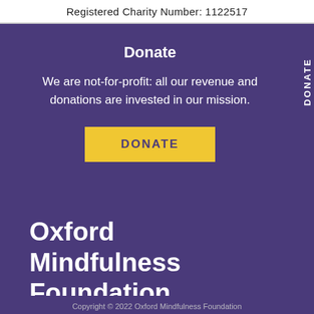Registered Charity Number: 1122517
Donate
We are not-for-profit: all our revenue and donations are invested in our mission.
DONATE
DONATE
Oxford Mindfulness Foundation
Copyright © 2022 Oxford Mindfulness Foundation